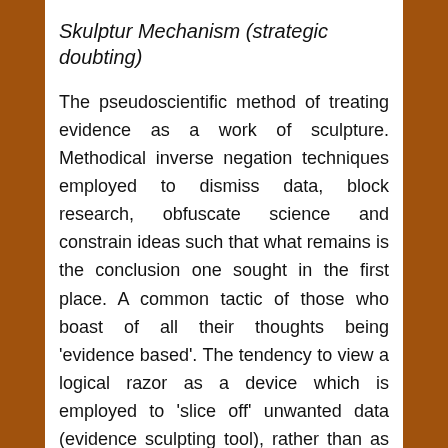Skulptur Mechanism (strategic doubting)
The pseudoscientific method of treating evidence as a work of sculpture. Methodical inverse negation techniques employed to dismiss data, block research, obfuscate science and constrain ideas such that what remains is the conclusion one sought in the first place. A common tactic of those who boast of all their thoughts being 'evidence based'. The tendency to view a logical razor as a device which is employed to 'slice off' unwanted data (evidence sculpting tool), rather than as a cutting tool (pharmacist's cutting and partitioning razor) which divide [flags] and relevant constructs from their